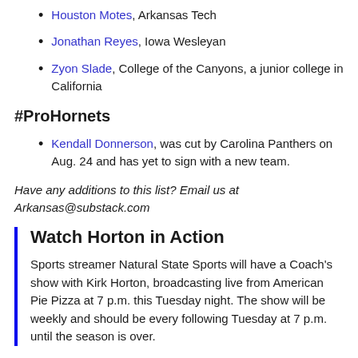Houston Motes, Arkansas Tech
Jonathan Reyes, Iowa Wesleyan
Zyon Slade, College of the Canyons, a junior college in California
#ProHornets
Kendall Donnerson, was cut by Carolina Panthers on Aug. 24 and has yet to sign with a new team.
Have any additions to this list? Email us at Arkansas@substack.com
Watch Horton in Action
Sports streamer Natural State Sports will have a Coach's show with Kirk Horton, broadcasting live from American Pie Pizza at 7 p.m. this Tuesday night. The show will be weekly and should be every following Tuesday at 7 p.m. until the season is over.